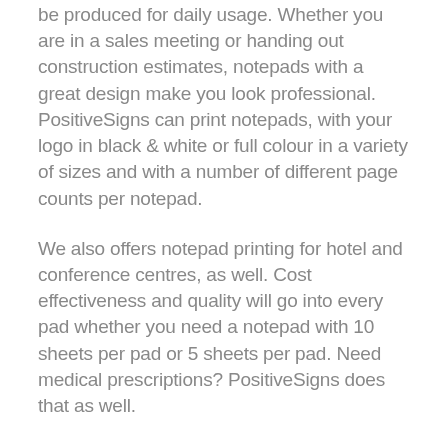be produced for daily usage. Whether you are in a sales meeting or handing out construction estimates, notepads with a great design make you look professional. PositiveSigns can print notepads, with your logo in black & white or full colour in a variety of sizes and with a number of different page counts per notepad.
We also offers notepad printing for hotel and conference centres, as well. Cost effectiveness and quality will go into every pad whether you need a notepad with 10 sheets per pad or 5 sheets per pad. Need medical prescriptions? PositiveSigns does that as well.
Whether you need 10 notepads for small scale distribution or 100,000+ for a massive mail out, PositiveSigns has design and print solutions for notepads printing. Contact us today. We would be